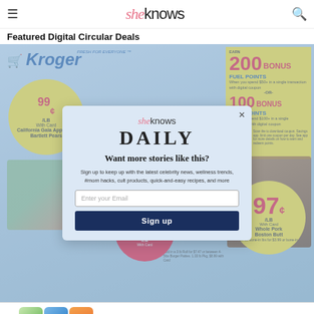sheknows
Featured Digital Circular Deals
[Figure (screenshot): Kroger grocery store digital circular advertisement showing deals: 99¢/lb California Gala Apples or Bartlett Pears with card, Earn 200 Bonus Fuel Points and 100 Bonus Fuel Points offers, Kroger 73% Lean Ground Beef $2.49/lb with card, 97¢/lb Whole Pork Boston Butt with card]
[Figure (screenshot): SheKnows Daily email signup popup overlay with fields: Enter your Email, Sign up button, headline 'Want more stories like this?' and subtext about celebrity news, wellness trends, mom hacks, cult products, quick-and-easy recipes]
[Figure (screenshot): BitLife - Life Simulator app advertisement banner at bottom of page with Install button]